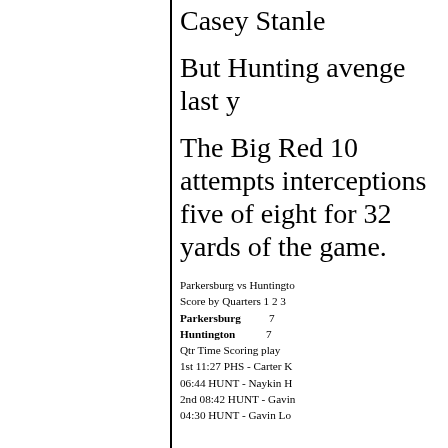Casey Stanle
But Hunting avenge last y
The Big Red 10 attempts interceptions five of eight for 32 yards of the game.
Parkersburg vs Huntingto
Score by Quarters 1 2 3
Parkersburg 7
Huntington 7
Qtr Time Scoring play
1st 11:27 PHS - Carter K
06:44 HUNT - Naykin H
2nd 08:42 HUNT - Gavin
04:30 HUNT - Gavin Lo